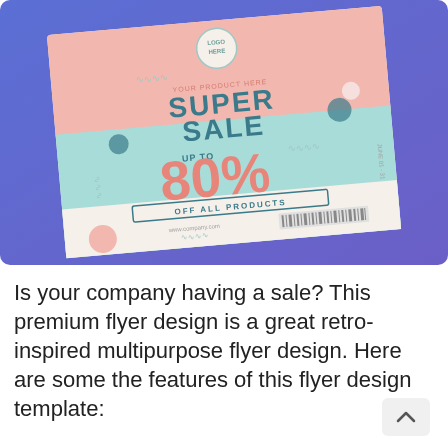[Figure (illustration): A promotional flyer mockup shown at a slight angle on a blue-purple gradient background. The flyer has a cream/white background with pink and teal color blocks. It reads 'SUPER SALE UP TO 80% OFF ALL PRODUCTS' with a circular logo placeholder at the top and decorative wavy lines. The large '80%' text is in coral/salmon color.]
Is your company having a sale? This premium flyer design is a great retro-inspired multipurpose flyer design. Here are some the features of this flyer design template: